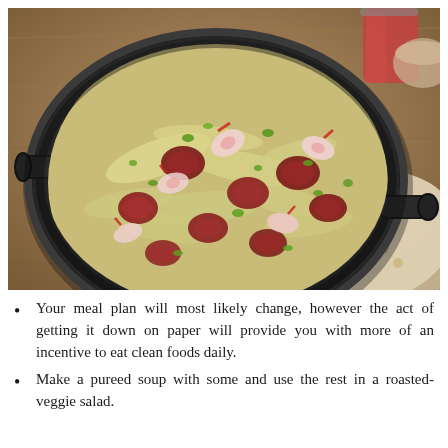[Figure (photo): A large black cast-iron skillet filled with a cooked dish of sausage slices, cabbage, radish slices, and green onions, placed on a wooden table with a floral cloth napkin and a glass of red drink in the background.]
Your meal plan will most likely change, however the act of getting it down on paper will provide you with more of an incentive to eat clean foods daily.
Make a pureed soup with some and use the rest in a roasted-veggie salad.